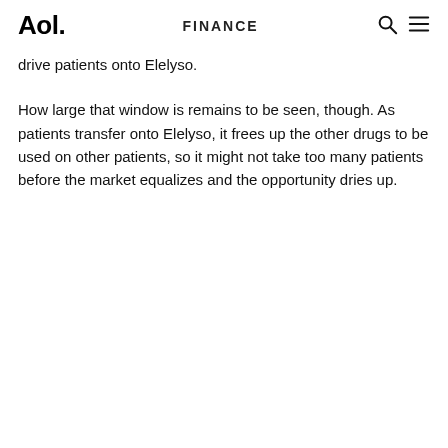Aol. FINANCE
drive patients onto Elelyso.
How large that window is remains to be seen, though. As patients transfer onto Elelyso, it frees up the other drugs to be used on other patients, so it might not take too many patients before the market equalizes and the opportunity dries up.